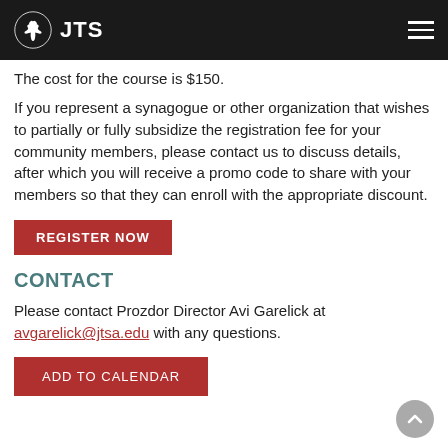JTS
The cost for the course is $150.
If you represent a synagogue or other organization that wishes to partially or fully subsidize the registration fee for your community members, please contact us to discuss details, after which you will receive a promo code to share with your members so that they can enroll with the appropriate discount.
REGISTER NOW
CONTACT
Please contact Prozdor Director Avi Garelick at avgarelick@jtsa.edu with any questions.
ADD TO CALENDAR